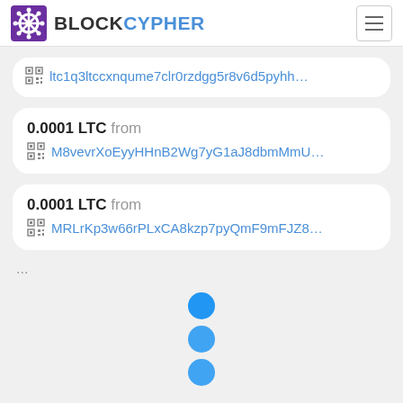BLOCKCYPHER
ltc1q3ltccxnqume7clr0rzdgg5r8v6d5pyhh…
0.0001 LTC from M8vevrXoEyyHHnB2Wg7yG1aJ8dbmMmU…
0.0001 LTC from MRLrKp3w66rPLxCA8kzp7pyQmF9mFJZ8…
...